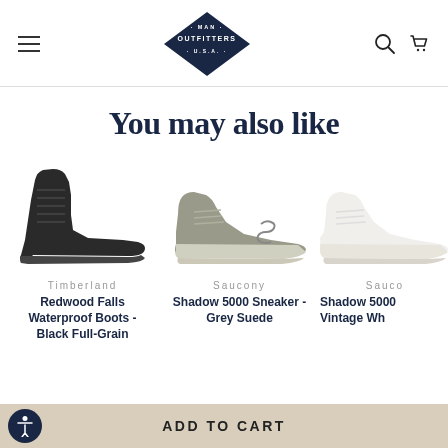Man Outfitters U.S.A. — navigation header with logo, hamburger menu, search and cart icons
You may also like
[Figure (photo): Timberland Redwood Falls Waterproof Boots - Black Full-Grain leather boot, side view]
Timberland
Redwood Falls Waterproof Boots - Black Full-Grain
[Figure (photo): Saucony Shadow 5000 Sneaker - Grey Suede running shoe, side view]
Saucony
Shadow 5000 Sneaker - Grey Suede
[Figure (photo): Saucony Shadow 5000 Vintage White sneaker, partially visible on right edge]
Sauco
Shadow 5000 Vintage Wh
ADD TO CART